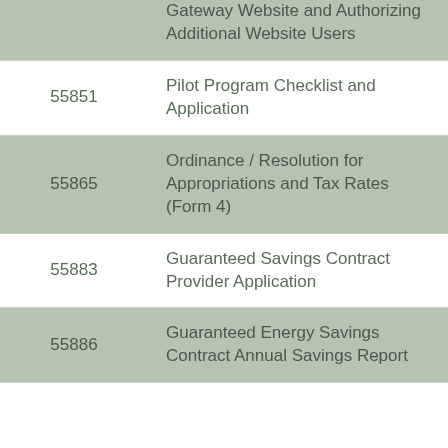| Form Number | Form Title |
| --- | --- |
|  | Data through the Gateway Website and Authorizing Additional Website Users |
| 55851 | Pilot Program Checklist and Application |
| 55865 | Ordinance / Resolution for Appropriations and Tax Rates (Form 4) |
| 55883 | Guaranteed Savings Contract Provider Application |
| 55886 | Guaranteed Energy Savings Contract Annual Savings Report |